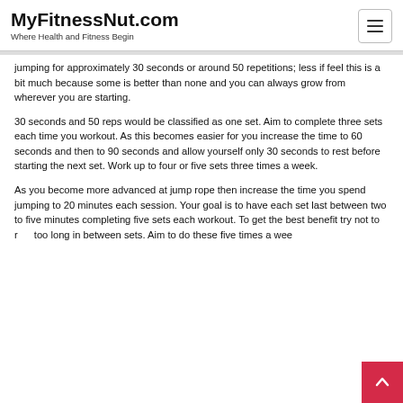MyFitnessNut.com
Where Health and Fitness Begin
jumping for approximately 30 seconds or around 50 repetitions; less if feel this is a bit much because some is better than none and you can always grow from wherever you are starting.
30 seconds and 50 reps would be classified as one set. Aim to complete three sets each time you workout. As this becomes easier for you increase the time to 60 seconds and then to 90 seconds and allow yourself only 30 seconds to rest before starting the next set. Work up to four or five sets three times a week.
As you become more advanced at jump rope then increase the time you spend jumping to 20 minutes each session. Your goal is to have each set last between two to five minutes completing five sets each workout. To get the best benefit try not to rest too long in between sets. Aim to do these five times a week.